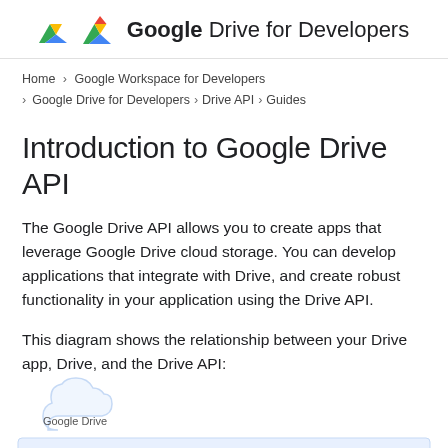Google Drive for Developers
Home > Google Workspace for Developers > Google Drive for Developers > Drive API > Guides
Introduction to Google Drive API
The Google Drive API allows you to create apps that leverage Google Drive cloud storage. You can develop applications that integrate with Drive, and create robust functionality in your application using the Drive API.
This diagram shows the relationship between your Drive app, Drive, and the Drive API:
[Figure (illustration): Partial diagram showing a cloud shape labeled 'Google Drive' at the bottom left of the page, with a light blue rectangular box beginning to appear at the bottom edge.]